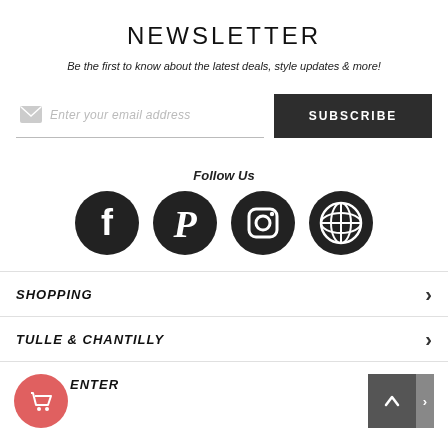NEWSLETTER
Be the first to know about the latest deals, style updates & more!
[Figure (infographic): Email subscription form with mail icon placeholder and SUBSCRIBE button]
Follow Us
[Figure (infographic): Four dark circular social media icons: Facebook, Pinterest, Instagram, WordPress]
SHOPPING
TULLE & CHANTILLY
ENTER